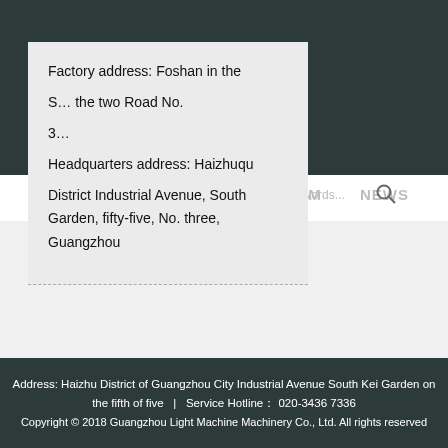[Figure (logo): GLM logo with red text and Chinese brand name 广州轻机 with tagline Create Value Share Values on dark teal background]
Factory address: Foshan in the
S... the two Road No.
3...
Headquarters address: Haizhuqu
District Industrial Avenue, South Garden, fifty-five, No. three, Guangzhou
PRODUCTS
Please enter key words...
CONTACT US
Address: Haizhu District of Guangzhou City Industrial Avenue South Kei Garden on the fifth of five | Service Hotline： 020-3436 7336
Copyright © 2018 Guangzhou Light Machine Machinery Co., Ltd. All rights reserved